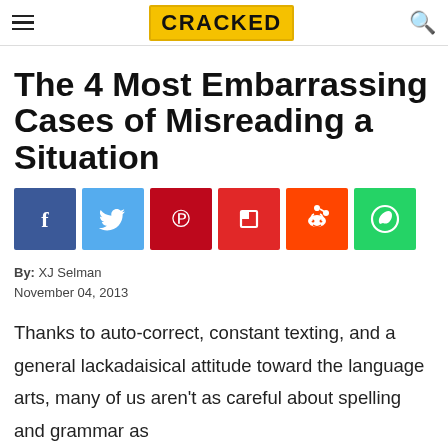CRACKED
The 4 Most Embarrassing Cases of Misreading a Situation
[Figure (infographic): Social sharing buttons: Facebook (blue), Twitter (light blue), Pinterest (red), Flipboard (red), Reddit (orange), WhatsApp (green)]
By:  XJ Selman
November 04, 2013
Thanks to auto-correct, constant texting, and a general lackadaisical attitude toward the language arts, many of us aren't as careful about spelling and grammar as